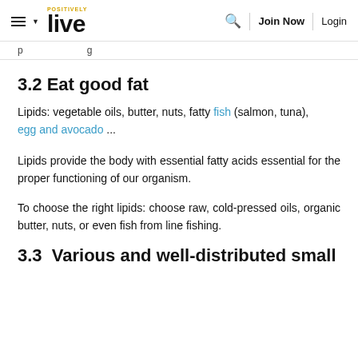POSITIVELY live  [search] Join Now | Login
[nav stub — partially visible text]
3.2 Eat good fat
Lipids: vegetable oils, butter, nuts, fatty fish (salmon, tuna), egg and avocado ...
Lipids provide the body with essential fatty acids essential for the proper functioning of our organism.
To choose the right lipids: choose raw, cold-pressed oils, organic butter, nuts, or even fish from line fishing.
3.3  Various and well-distributed small